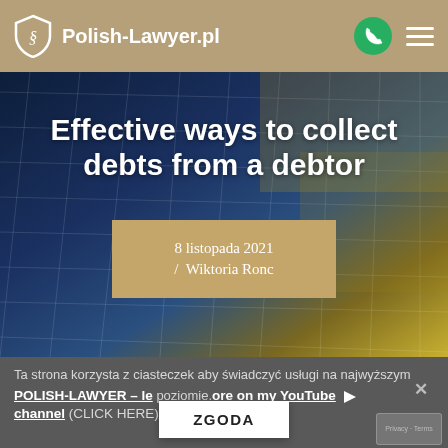Polish-Lawyer.pl
[Figure (photo): Glass skyscraper building facade photographed from below at an angle, showing blue and gold reflective glass panels in a grid pattern]
Effective ways to collect debts from a debtor
8 listopada 2021 / Wiktoria Ronc
Ta strona korzysta z ciasteczek aby świadczyć usługi na najwyższym poziomie.
POLISH-LAWYER – learn more on my YouTube channel (CLICK HERE)
ZGODA